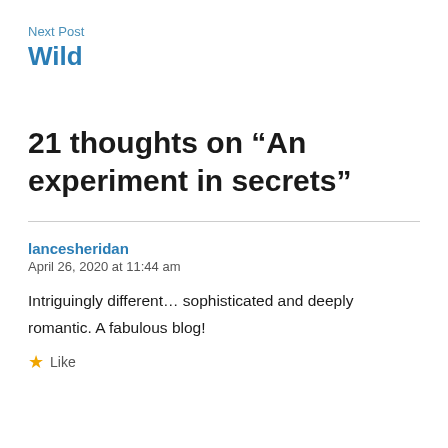Next Post
Wild
21 thoughts on “An experiment in secrets”
lancesheridan
April 26, 2020 at 11:44 am
Intriguingly different… sophisticated and deeply romantic. A fabulous blog!
Like